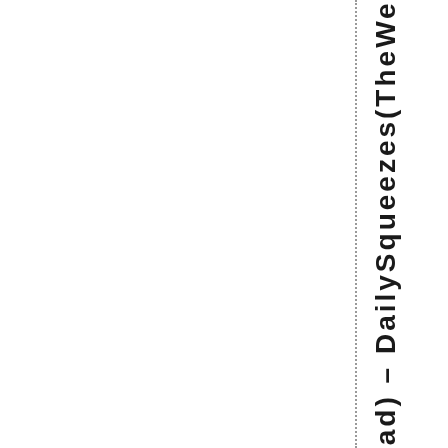Ahead) – DailySqueezes(TheWeekA